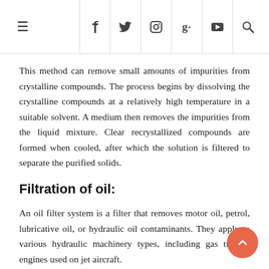≡  f  y  in  g+  yt  🔍
This method can remove small amounts of impurities from crystalline compounds. The process begins by dissolving the crystalline compounds at a relatively high temperature in a suitable solvent. A medium then removes the impurities from the liquid mixture. Clear recrystallized compounds are formed when cooled, after which the solution is filtered to separate the purified solids.
Filtration of oil:
An oil filter system is a filter that removes motor oil, petrol, lubricative oil, or hydraulic oil contaminants. They apply to various hydraulic machinery types, including gas turbine engines used on jet aircraft.
Multilayer (sand / gravel / carbon) filtration: